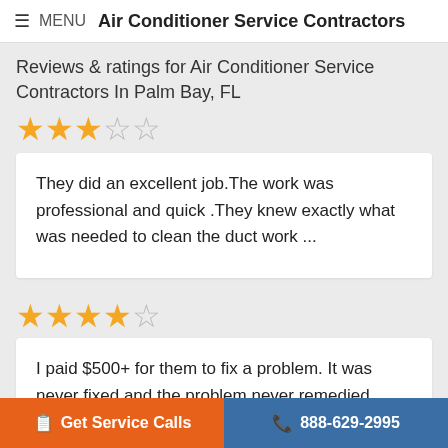≡ MENU  Air Conditioner Service Contractors
Reviews & ratings for Air Conditioner Service Contractors In Palm Bay, FL
[Figure (other): 3 filled stars and 2 empty stars rating (3 out of 5)]
They did an excellent job.The work was professional and quick .They knew exactly what was needed to clean the duct work ...
[Figure (other): 4 filled stars and 1 empty star rating (4 out of 5)]
I paid $500+ for them to fix a problem. It was never fixed and the problem never remedied. They didn't even return my ph
Get Service Calls   888-629-2995